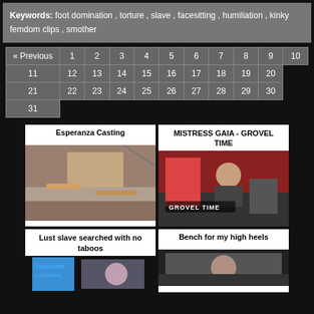Keywords: foot domination , torture , slave , facesitting , humiliation , kinky femdom clips , smother
| « Previous | 1 | 2 | 3 | 4 | 5 | 6 | 7 | 8 | 9 | 10 |
| 11 | 12 | 13 | 14 | 15 | 16 | 17 | 18 | 19 | 20 |
| 21 | 22 | 23 | 24 | 25 | 26 | 27 | 28 | 29 | 30 |
| 31 |
[Figure (photo): Esperanza Casting video thumbnail showing feet/legs]
[Figure (photo): MISTRESS GAIA - GROVEL TIME video thumbnail with text overlay]
[Figure (photo): Lust slave searched with no taboos video thumbnail with blue-haired woman]
[Figure (photo): Bench for my high heels video thumbnail]